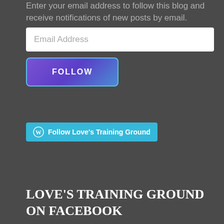Enter your email address to follow this blog and receive notifications of new posts by email.
Email Address
FOLLOW
[Figure (other): WordPress Follow button with cyan background, WordPress logo icon on left, text 'Follow Love's Training Ground']
LOVE'S TRAINING GROUND ON FACEBOOK